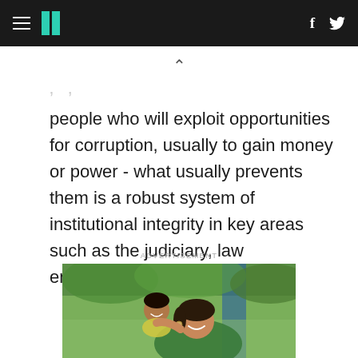HuffPost navigation bar with hamburger menu, logo, and social icons (f, Twitter)
people who will exploit opportunities for corruption, usually to gain money or power - what usually prevents them is a robust system of institutional integrity in key areas such as the judiciary, law enforcement, civil service, etc.
ADVERTISEMENT
[Figure (photo): A smiling woman holding a young toddler girl, outdoors with green trees in the background. Advertisement image.]